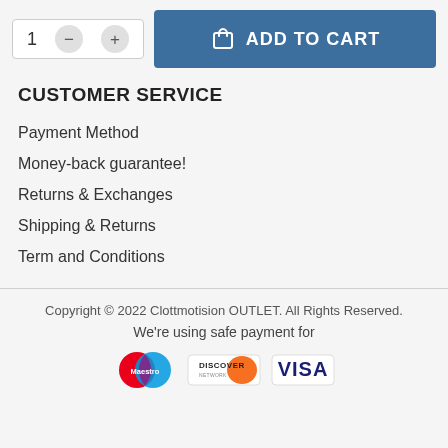[Figure (screenshot): Add to cart bar with quantity selector showing '1', minus button, plus button, and a blue 'ADD TO CART' button with cart icon]
CUSTOMER SERVICE
Payment Method
Money-back guarantee!
Returns & Exchanges
Shipping & Returns
Term and Conditions
Copyright © 2022 Clottmotision OUTLET. All Rights Reserved.
We're using safe payment for
[Figure (logo): Payment logos: Maestro, Discover, Visa]